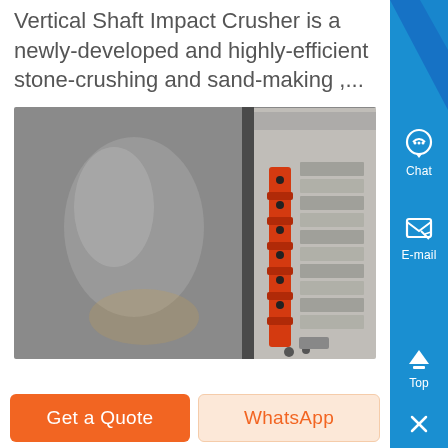Vertical Shaft Impact Crusher is a newly-developed and highly-efficient stone-crushing and sand-making ,...
[Figure (photo): Close-up photograph of industrial machinery including a large metal drum/cylinder and red hydraulic or mechanical components with stacked plate-like structures in the background, likely parts of a vertical shaft impact crusher.]
Get a Quote
WhatsApp